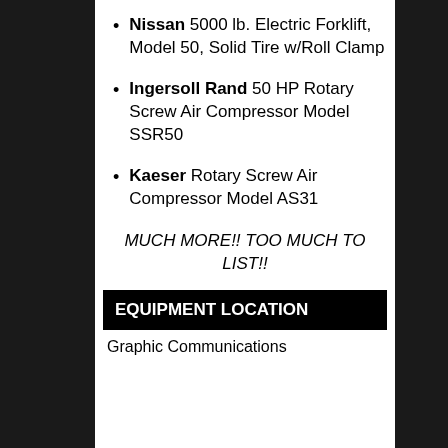Nissan 5000 lb. Electric Forklift, Model 50, Solid Tire w/Roll Clamp
Ingersoll Rand 50 HP Rotary Screw Air Compressor Model SSR50
Kaeser Rotary Screw Air Compressor Model AS31
MUCH MORE!! TOO MUCH TO LIST!!
EQUIPMENT LOCATION
Graphic Communications